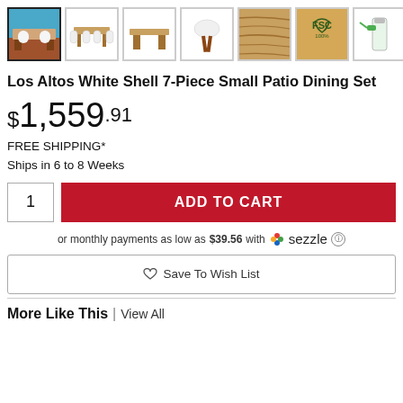[Figure (photo): Row of 7 product thumbnail images showing patio dining set from various angles, including outdoor scene, table with chairs, close-up of wood grain, FSC certification logo, and cleaning spray bottle. First thumbnail is selected with dark border.]
Los Altos White Shell 7-Piece Small Patio Dining Set
$1,559.91
FREE SHIPPING*
Ships in 6 to 8 Weeks
1  ADD TO CART
or monthly payments as low as $39.56 with sezzle
♡ Save To Wish List
More Like This | View All